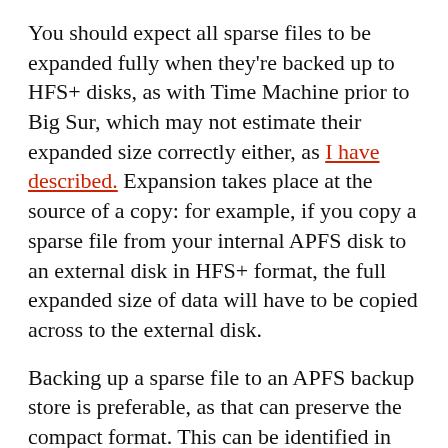You should expect all sparse files to be expanded fully when they're backed up to HFS+ disks, as with Time Machine prior to Big Sur, which may not estimate their expanded size correctly either, as I have described. Expansion takes place at the source of a copy: for example, if you copy a sparse file from your internal APFS disk to an external disk in HFS+ format, the full expanded size of data will have to be copied across to the external disk.
Backing up a sparse file to an APFS backup store is preferable, as that can preserve the compact format. This can be identified in log entries reporting the numbers and sizes of items copied in a backup. For example, the entry
2 Files Copied (l: 10 GB p: 66 KB)
shows that the listed size of those two files was 10 GB, but the actual size transferred was only 66 KB. The time taken for such backups also reflects the small